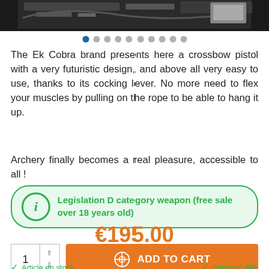[Figure (photo): Partial view of a crossbow pistol (EK Cobra) at the top of the page, dark colored]
The Ek Cobra brand presents here a crossbow pistol with a very futuristic design, and above all very easy to use, thanks to its cocking lever. No more need to flex your muscles by pulling on the rope to be able to hang it up.
Archery finally becomes a real pleasure, accessible to all !
Legislation D category weapon (free sale over 18 years old)
€195.00
ADD TO CART
Article en stock
Shipped: 48h